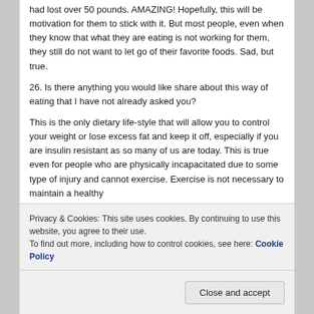had lost over 50 pounds. AMAZING! Hopefully, this will be motivation for them to stick with it. But most people, even when they know that what they are eating is not working for them, they still do not want to let go of their favorite foods. Sad, but true.
26. Is there anything you would like share about this way of eating that I have not already asked you?
This is the only dietary life-style that will allow you to control your weight or lose excess fat and keep it off, especially if you are insulin resistant as so many of us are today. This is true even for people who are physically incapacitated due to some type of injury and cannot exercise. Exercise is not necessary to maintain a healthy
Privacy & Cookies: This site uses cookies. By continuing to use this website, you agree to their use.
To find out more, including how to control cookies, see here: Cookie Policy
Close and accept